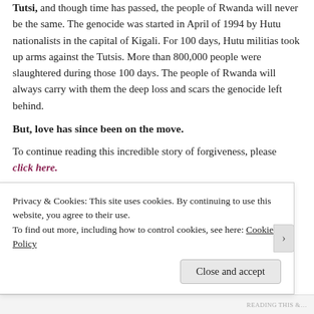Tutsi, and though time has passed, the people of Rwanda will never be the same. The genocide was started in April of 1994 by Hutu nationalists in the capital of Kigali. For 100 days, Hutu militias took up arms against the Tutsis. More than 800,000 people were slaughtered during those 100 days. The people of Rwanda will always carry with them the deep loss and scars the genocide left behind.
But, love has since been on the move.
To continue reading this incredible story of forgiveness, please click here.
In addition to learning about the anonymous of forgiveness of
Privacy & Cookies: This site uses cookies. By continuing to use this website, you agree to their use.
To find out more, including how to control cookies, see here: Cookie Policy
Close and accept